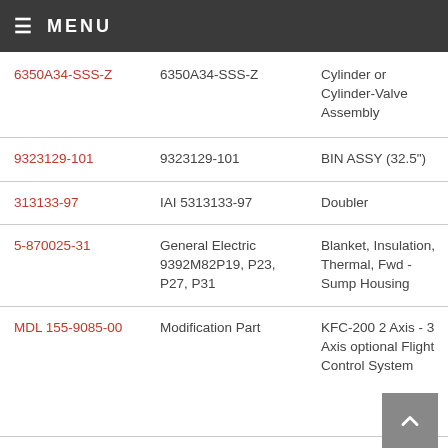MENU
| Part Number | Manufacturer Part | Description |
| --- | --- | --- |
| 6350A34-SSS-Z | 6350A34-SSS-Z | Cylinder or Cylinder-Valve Assembly |
| 9323129-101 | 9323129-101 | BIN ASSY (32.5") |
| 313133-97 | IAI 5313133-97 | Doubler |
| 5-870025-31 | General Electric 9392M82P19, P23, P27, P31 | Blanket, Insulation, Thermal, Fwd - Sump Housing |
| MDL 155-9085-00 | Modification Part | KFC-200 2 Axis - 3 Axis optional Flight Control System |
| 9992M65G07 | 999M65G07 | Shroud, Compressor... |